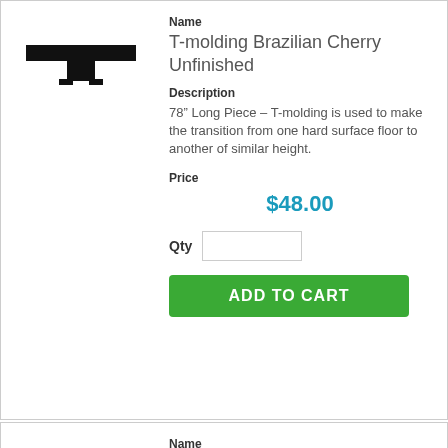[Figure (illustration): T-molding cross-section shape silhouette in black]
Name
T-molding Brazilian Cherry Unfinished
Description
78" Long Piece – T-molding is used to make the transition from one hard surface floor to another of similar height.
Price
$48.00
Qty
ADD TO CART
[Figure (illustration): Threshold molding cross-section shape silhouette in black]
Name
Threshold Brazilian Cherry Unfinished
Description